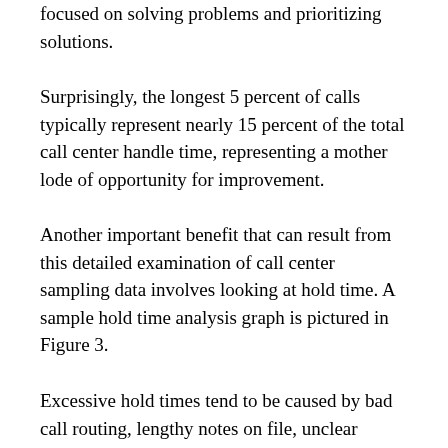focused on solving problems and prioritizing solutions.
Surprisingly, the longest 5 percent of calls typically represent nearly 15 percent of the total call center handle time, representing a mother lode of opportunity for improvement.
Another important benefit that can result from this detailed examination of call center sampling data involves looking at hold time. A sample hold time analysis graph is pictured in Figure 3.
Excessive hold times tend to be caused by bad call routing, lengthy notes on file, unclear processes and customer issues. Each of these problems has a solution, usually low-cost and easily implemented. Most importantly, the value of each action is quantified and understood, based on the data